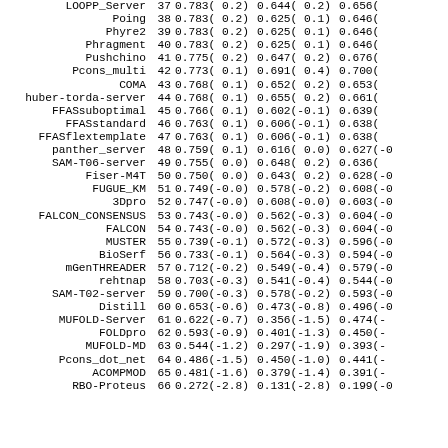| Name | Rank | Col1 | Col2 | Col3 |
| --- | --- | --- | --- | --- |
| LOOPP_Server | 37 | 0.783( 0.2) | 0.644( 0.2) | 0.656( |
| Poing | 38 | 0.783( 0.2) | 0.625( 0.1) | 0.646( |
| Phyre2 | 39 | 0.783( 0.2) | 0.625( 0.1) | 0.646( |
| Phragment | 40 | 0.783( 0.2) | 0.625( 0.1) | 0.646( |
| Pushchino | 41 | 0.775( 0.2) | 0.647( 0.2) | 0.676( |
| Pcons_multi | 42 | 0.773( 0.1) | 0.691( 0.4) | 0.700( |
| COMA | 43 | 0.768( 0.1) | 0.652( 0.2) | 0.653( |
| huber-torda-server | 44 | 0.768( 0.1) | 0.655( 0.2) | 0.661( |
| FFASsuboptimal | 45 | 0.766( 0.1) | 0.602(-0.1) | 0.639( |
| FFASstandard | 46 | 0.763( 0.1) | 0.606(-0.1) | 0.638( |
| FFASflextemplate | 47 | 0.763( 0.1) | 0.606(-0.1) | 0.638( |
| panther_server | 48 | 0.759( 0.1) | 0.616( 0.0) | 0.627(-0 |
| SAM-T06-server | 49 | 0.755( 0.0) | 0.648( 0.2) | 0.636( |
| Fiser-M4T | 50 | 0.750( 0.0) | 0.643( 0.2) | 0.628(-0 |
| FUGUE_KM | 51 | 0.749(-0.0) | 0.578(-0.2) | 0.608(-0 |
| 3Dpro | 52 | 0.747(-0.0) | 0.608(-0.0) | 0.603(-0 |
| FALCON_CONSENSUS | 53 | 0.743(-0.0) | 0.562(-0.3) | 0.604(-0 |
| FALCON | 54 | 0.743(-0.0) | 0.562(-0.3) | 0.604(-0 |
| MUSTER | 55 | 0.739(-0.1) | 0.572(-0.3) | 0.596(-0 |
| BioSerf | 56 | 0.733(-0.1) | 0.564(-0.3) | 0.594(-0 |
| mGenTHREADER | 57 | 0.712(-0.2) | 0.549(-0.4) | 0.579(-0 |
| rehtnap | 58 | 0.703(-0.3) | 0.541(-0.4) | 0.544(-0 |
| SAM-T02-server | 59 | 0.700(-0.3) | 0.578(-0.2) | 0.593(-0 |
| Distill | 60 | 0.653(-0.6) | 0.473(-0.8) | 0.496(-0 |
| MUFOLD-Server | 61 | 0.622(-0.7) | 0.356(-1.5) | 0.474(- |
| FOLDpro | 62 | 0.593(-0.9) | 0.401(-1.3) | 0.450(- |
| MUFOLD-MD | 63 | 0.544(-1.2) | 0.297(-1.9) | 0.393(- |
| Pcons_dot_net | 64 | 0.486(-1.5) | 0.450(-1.0) | 0.441(- |
| ACOMPMOD | 65 | 0.481(-1.6) | 0.379(-1.4) | 0.391(- |
| RBO-Proteus | 66 | 0.272(-2.8) | 0.131(-2.8) | 0.199(-0 |